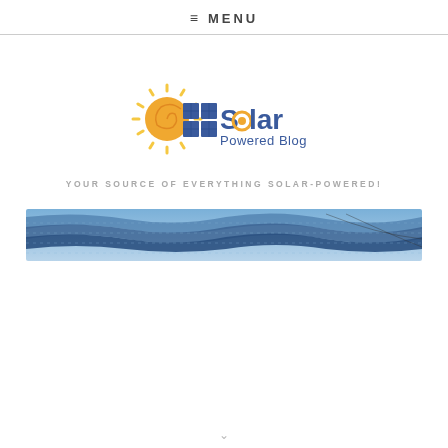≡ MENU
[Figure (logo): Solar Powered Blog logo with sun and solar panel icons]
YOUR SOURCE OF EVERYTHING SOLAR-POWERED!
[Figure (photo): Wide banner photo of solar panels with blue tones]
v